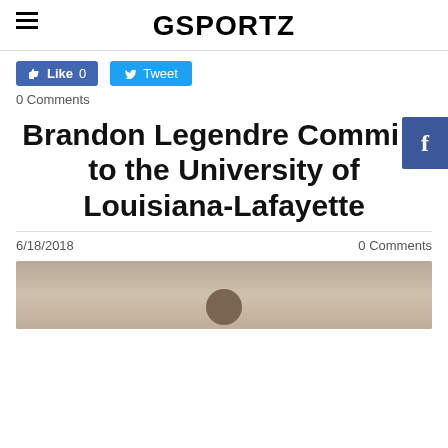GSPORTZ
Like 0   Tweet
0 Comments
Brandon Legendre Commits to the University of Louisiana-Lafayette
6/18/2018   0 Comments
[Figure (photo): Photo of Brandon Legendre, partially visible, person with dark hair against a light background]